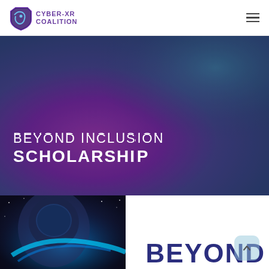[Figure (logo): Cyber-XR Coalition shield logo with purple colors and text CYBER-XR COALITION]
[Figure (photo): Hero banner with dark purple-teal gradient background showing the text BEYOND INCLUSION SCHOLARSHIP]
BEYOND INCLUSION SCHOLARSHIP
[Figure (photo): Partial image at bottom showing a person wearing a VR/AR headset with blue glowing earth, and large BEYOND text in dark navy blue]
BEYOND